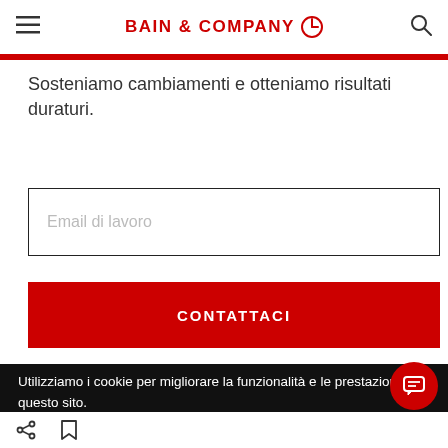BAIN & COMPANY
Sosteniamo cambiamenti e otteniamo risultati duraturi.
Email di lavoro
CONTATTACI
Utilizziamo i cookie per migliorare la funzionalità e le prestazioni di questo sito.
ACCETTA TUTTI I COOKIE